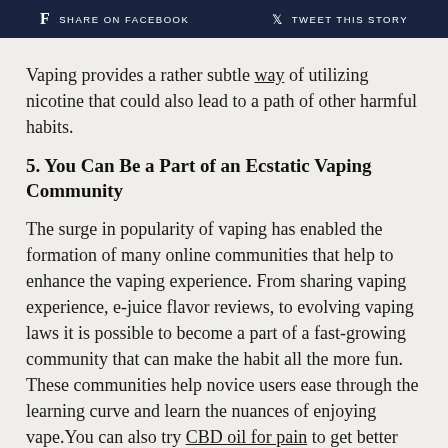f SHARE ON FACEBOOK   TWEET THIS STORY
Vaping provides a rather subtle way of utilizing nicotine that could also lead to a path of other harmful habits.
5. You Can Be a Part of an Ecstatic Vaping Community
The surge in popularity of vaping has enabled the formation of many online communities that help to enhance the vaping experience. From sharing vaping experience, e-juice flavor reviews, to evolving vaping laws it is possible to become a part of a fast-growing community that can make the habit all the more fun. These communities help novice users ease through the learning curve and learn the nuances of enjoying vape.You can also try CBD oil for pain to get better results
Apart from these, you can also participate in many vape events that are a great way to learn about the latest inventions and innovations in vape devices. From fancy